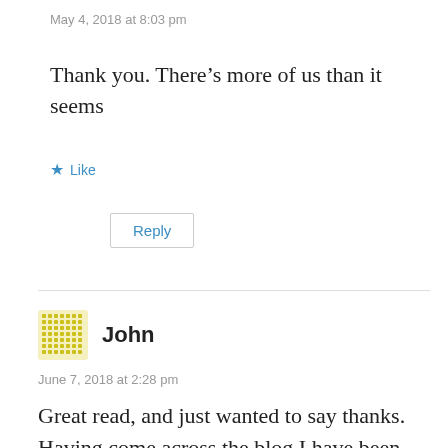May 4, 2018 at 8:03 pm
Thank you. There’s more of us than it seems
★ Like
Reply
John
June 7, 2018 at 2:28 pm
Great read, and just wanted to say thanks. Having come across the blog I have been reading through and thoroughly enjoying the articles. It’s really nice reading about others on a similar path, particularly in part my situation